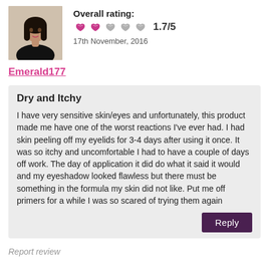[Figure (photo): Profile photo of a young woman with dark hair wearing a black top]
Overall rating: 1.7/5
17th November, 2016
Emerald177
Dry and Itchy
I have very sensitive skin/eyes and unfortunately, this product made me have one of the worst reactions I've ever had. I had skin peeling off my eyelids for 3-4 days after using it once. It was so itchy and uncomfortable I had to have a couple of days off work. The day of application it did do what it said it would and my eyeshadow looked flawless but there must be something in the formula my skin did not like. Put me off primers for a while I was so scared of trying them again
Reply
Report review